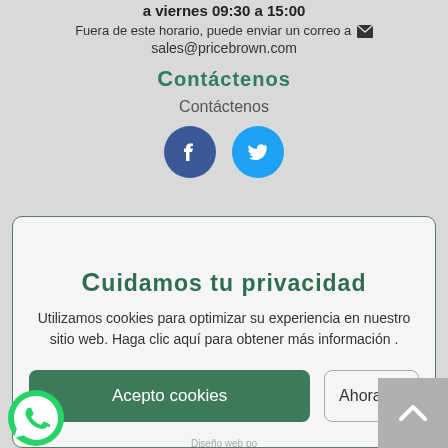a viernes 09:30 a 15:00
Fuera de este horario, puede enviar un correo a ✉ sales@pricebrown.com
Contáctenos
Contáctenos
[Figure (illustration): Facebook and Twitter social media icons (circular buttons)]
✉ sales@pricebrown.com
(+34) 950 478 915
Paseo de Mediterraneo, 171
Mojacar 04638
Almeria
Cuidamos tu privacidad
Utilizamos cookies para optimizar su experiencia en nuestro sitio web. Haga clic aquí para obtener más información .
Acepto cookies
Ahora no
Price Brown: Inmuebles en venta en Almeria, España
Diseño web po